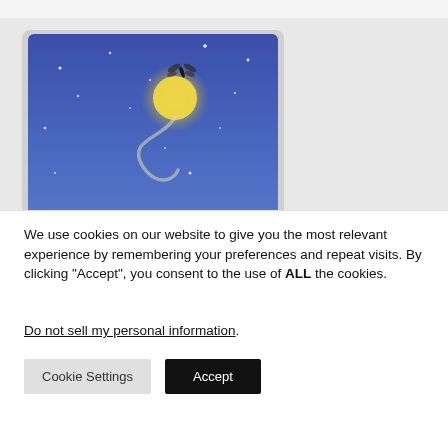[Figure (illustration): An illustration showing a dark blue starry night sky with a glowing yellow moon and a dark insect (possibly a dragonfly or firefly) flying above a swirling light trail. White star dots scattered across the blue background. The image is partially cut off at the bottom.]
We use cookies on our website to give you the most relevant experience by remembering your preferences and repeat visits. By clicking "Accept", you consent to the use of ALL the cookies.
Do not sell my personal information.
Cookie Settings
Accept